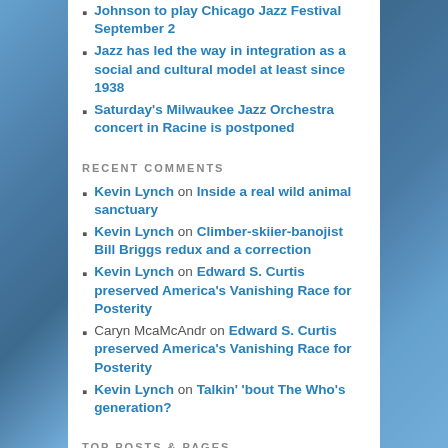Johnson to play Chicago Jazz Festival September 2
Jazz has led the way in integration as a social and cultural model at least since 1938
Saturday's Milwaukee Jazz Orchestra concert in Racine is postponed
RECENT COMMENTS
Kevin Lynch on Inside a real wild animal sanctuary
Kevin Lynch on Climber-skiier-banojist Bill Briggs redux and a correction
Kevin Lynch on Edward S. Curtis preserved America's Vanishing Race for Posterity
Caryn McaMcAndr on Edward S. Curtis preserved America's Vanishing Race for Posterity
Kevin Lynch on Talkin' 'bout The Who's generation?
TOP POSTS & PAGES
The Beatles or Jack Grassel? The Wisconsin guy wins out, riding the wings of Mercury
"Milwaukee Rock and Roll" is a time machine, Part 2
Composer Erik Satie had a "special" relationship with